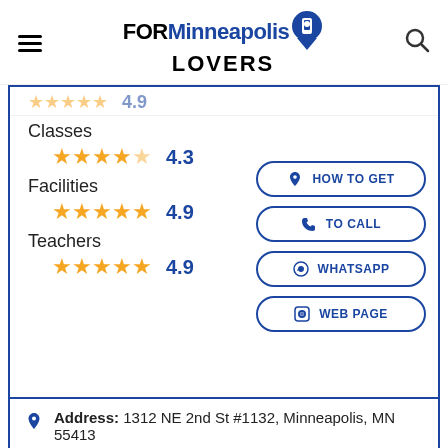[Figure (logo): FORMinneapolis LOVERS logo with map pin icon]
4.9 (partial, top)
Classes
4.3 (4 and a half stars)
Facilities
4.9 (5 stars)
Teachers
4.9 (5 stars)
HOW TO GET
TO CALL
WHATSAPP
WEB PAGE
Address: 1312 NE 2nd St #1132, Minneapolis, MN 55413
Schedule: Closed · Opens 9AM Tue